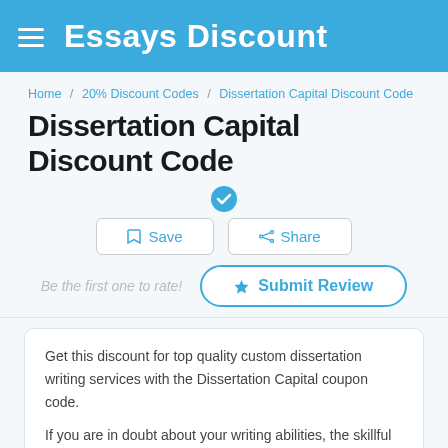Essays Discount
Home / 20% Discount Codes / Dissertation Capital Discount Code
Dissertation Capital Discount Code
Save   Share
Be the first one to rate!   Submit Review
Get this discount for top quality custom dissertation writing services with the Dissertation Capital coupon code.
If you are in doubt about your writing abilities, the skillful writers and editors of the DissertationCapital.com are willing to give you